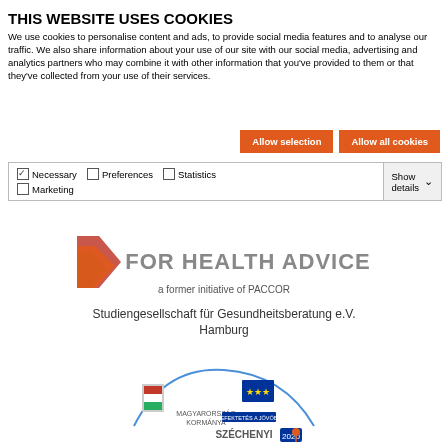THIS WEBSITE USES COOKIES
We use cookies to personalise content and ads, to provide social media features and to analyse our traffic. We also share information about your use of our site with our social media, advertising and analytics partners who may combine it with other information that you've provided to them or that they've collected from your use of their services.
Allow selection | Allow all cookies
| ✓ Necessary | ☐ Preferences | ☐ Statistics | Show details ∨ |
| ☐ Marketing |  |  |  |
[Figure (logo): FOR HEALTH ADVICE logo with orange geometric shape]
a former initiative of PACCOR
Studiengesellschaft für Gesundheitsberatung e.V. Hamburg
[Figure (logo): Széchenyi 2020 EU funding logo with Hungarian coat of arms and European Social Fund branding]